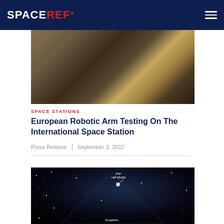SPACEREF*
[Figure (photo): Aerial/overhead photo of the International Space Station exterior showing metallic structures, solar panels, and robotic arm components]
SPACE STATIONS
European Robotic Arm Testing On The International Space Station
Press Release | September 3, 2022
[Figure (photo): Deep space image showing star HIP 65426 with labeled annotation and exoplanet detection imagery, dark star field background with bright central star]